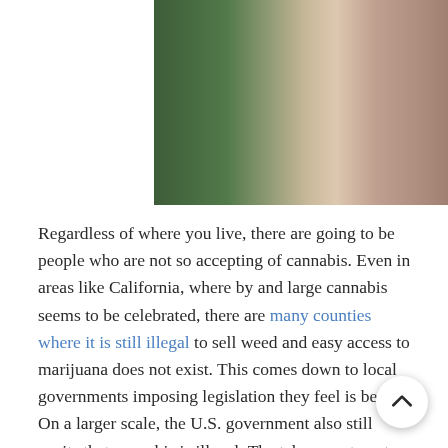[Figure (photo): Partial photo showing a hand holding a cannabis vape pen or joint, with blurred green foliage in the background. The image is cropped showing only the top portion.]
Regardless of where you live, there are going to be people who are not so accepting of cannabis. Even in areas like California, where by and large cannabis seems to be celebrated, there are many counties where it is still illegal to sell weed and easy access to marijuana does not exist. This comes down to local governments imposing legislation they feel is best. On a larger scale, the U.S. government also still posits that cannabis is illegal. The takeaway to get here is that government officials are the ones that have an ultimate say on the fate of cannabis. If marijuana means something to you and you live somewhere where it is heavily